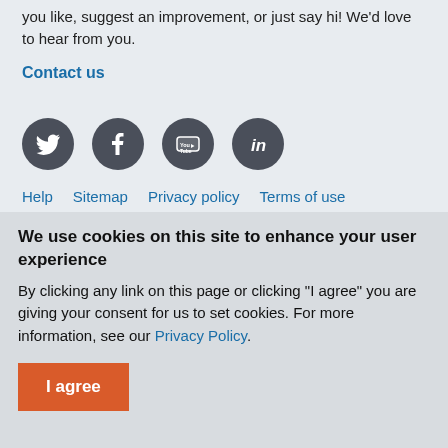you like, suggest an improvement, or just say hi! We'd love to hear from you.
Contact us
[Figure (other): Four social media icons in dark grey circles: Twitter bird, Facebook f, YouTube logo, LinkedIn in]
Help   Sitemap   Privacy policy   Terms of use
We use cookies on this site to enhance your user experience
By clicking any link on this page or clicking "I agree" you are giving your consent for us to set cookies. For more information, see our Privacy Policy.
I agree